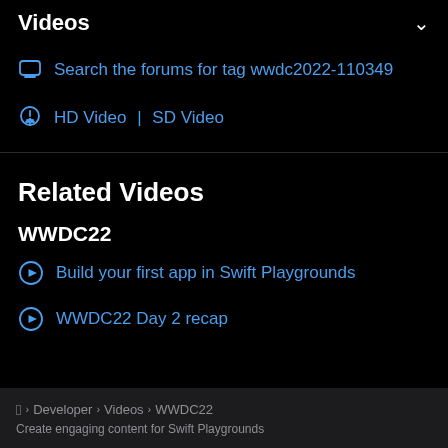Videos
Search the forums for tag wwdc2022-110349
HD Video | SD Video
Related Videos
WWDC22
Build your first app in Swift Playgrounds
WWDC22 Day 2 recap
Apple > Developer > Videos > WWDC22
Create engaging content for Swift Playgrounds